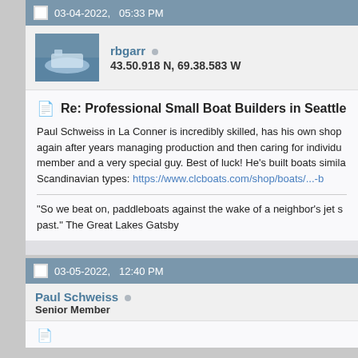03-04-2022,   05:33 PM
rbgarr
43.50.918 N, 69.38.583 W
Re: Professional Small Boat Builders in Seattle
Paul Schweiss in La Conner is incredibly skilled, has his own shop again after years managing production and then caring for individuals. member and a very special guy. Best of luck! He's built boats similar Scandinavian types: https://www.clcboats.com/shop/boats/...-b
"So we beat on, paddleboats against the wake of a neighbor's jet s past." The Great Lakes Gatsby
03-05-2022,   12:40 PM
Paul Schweiss
Senior Member